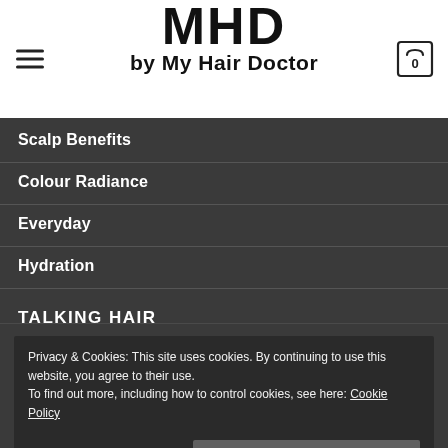[Figure (logo): MHD by My Hair Doctor logo with hamburger menu icon on the left and shopping cart icon on the right]
Scalp Benefits
Colour Radiance
Everyday
Hydration
TALKING HAIR
Scalp Issues
Privacy & Cookies: This site uses cookies. By continuing to use this website, you agree to their use.
To find out more, including how to control cookies, see here: Cookie Policy
Close and accept